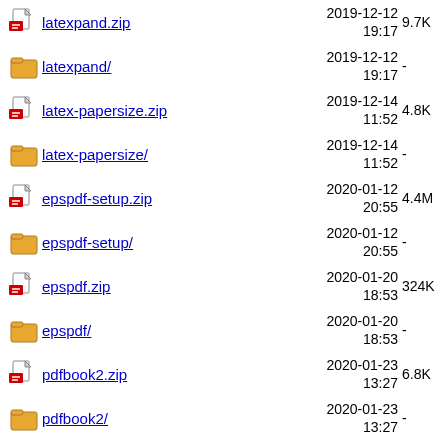latexpand.zip  2019-12-12 19:17  9.7K
latexpand/  2019-12-12 19:17  -
latex-papersize.zip  2019-12-14 11:52  4.8K
latex-papersize/  2019-12-14 11:52  -
epspdf-setup.zip  2020-01-12 20:55  4.4M
epspdf-setup/  2020-01-12 20:55  -
epspdf.zip  2020-01-20 18:53  324K
epspdf/  2020-01-20 18:53  -
pdfbook2.zip  2020-01-23 13:27  6.8K
pdfbook2/  2020-01-23 13:27  -
texosquery.zip  2020-02-04 12:55  764K
2020-02-04